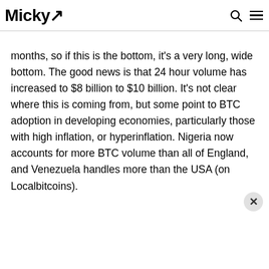Micky
months, so if this is the bottom, it's a very long, wide bottom. The good news is that 24 hour volume has increased to $8 billion to $10 billion. It's not clear where this is coming from, but some point to BTC adoption in developing economies, particularly those with high inflation, or hyperinflation. Nigeria now accounts for more BTC volume than all of England, and Venezuela handles more than the USA (on Localbitcoins).